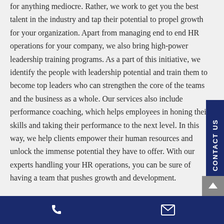for anything mediocre. Rather, we work to get you the best talent in the industry and tap their potential to propel growth for your organization. Apart from managing end to end HR operations for your company, we also bring high-power leadership training programs. As a part of this initiative, we identify the people with leadership potential and train them to become top leaders who can strengthen the core of the teams and the business as a whole. Our services also include performance coaching, which helps employees in honing their skills and taking their performance to the next level. In this way, we help clients empower their human resources and unlock the immense potential they have to offer. With our experts handling your HR operations, you can be sure of having a team that pushes growth and development.
CONTACT US